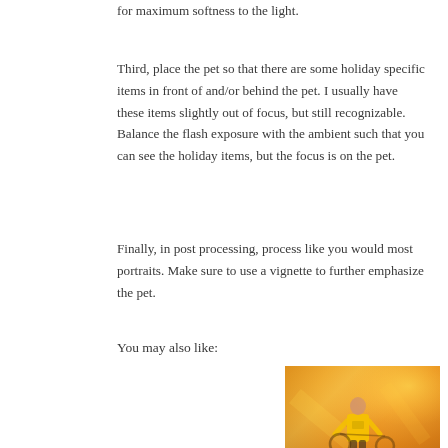for maximum softness to the light.
Third, place the pet so that there are some holiday specific items in front of and/or behind the pet. I usually have these items slightly out of focus, but still recognizable. Balance the flash exposure with the ambient such that you can see the holiday items, but the focus is on the pet.
Finally, in post processing, process like you would most portraits. Make sure to use a vignette to further emphasize the pet.
You may also like:
[Figure (photo): Person in yellow shirt outdoors in warm golden/orange light, standing in a field. Copyright 2018 Rick A. Bimi watermark at bottom right.]